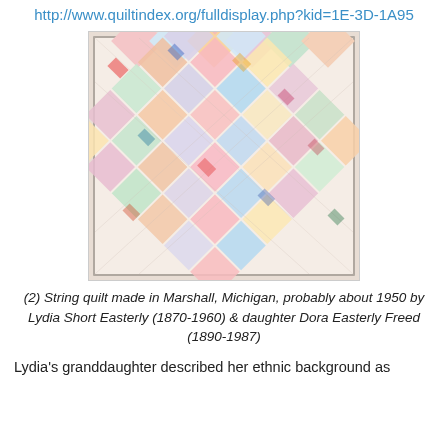http://www.quiltindex.org/fulldisplay.php?kid=1E-3D-1A95
[Figure (photo): A string quilt with a diamond/square-on-point pattern made from many colorful fabric strips and patches in pink, red, blue, yellow, and white tones, photographed against a white background with a thin dark border around the quilt.]
(2) String quilt made in Marshall, Michigan, probably about 1950 by Lydia Short Easterly (1870-1960) & daughter Dora Easterly Freed (1890-1987)
Lydia's granddaughter described her ethnic background as